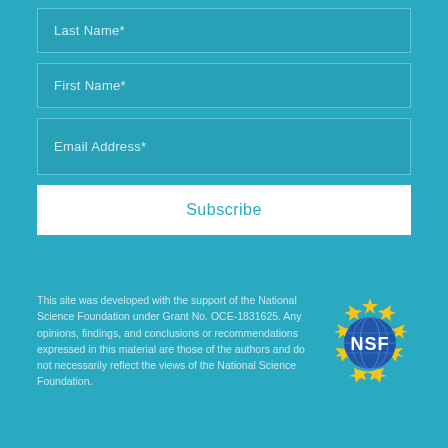Last Name*
First Name*
Email Address*
Subscribe
This site was developed with the support of the National Science Foundation under Grant No. OCE-1831625. Any opinions, findings, and conclusions or recommendations expressed in this material are those of the authors and do not necessarily reflect the views of the National Science Foundation.
[Figure (logo): NSF (National Science Foundation) logo — blue globe surrounded by gold stars with 'NSF' text in white]